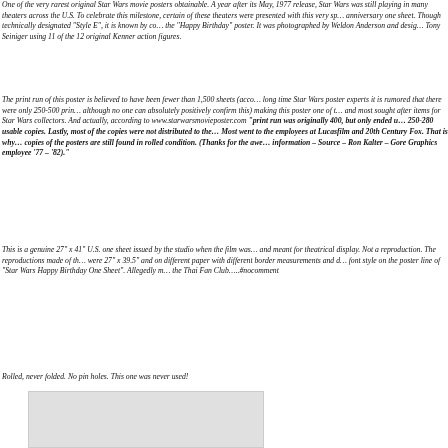One of the very rarest original Star Wars movie posters obtainable. A year after its May, 1977 release, Star Wars was still playing in many theaters across the U.S. To celebrate this milestone, certain of these theaters were presented with this very special anniversary one sheet. Though technically designated "Style E", it is known by collectors as the "Happy Birthday" poster. It was photographed by Weldon Anderson and designed by Tony Seiniger using 11 of the 12 original Kenner action figures.
The print run of this poster is believed to have been fewer than 1,500 sheets (according to long time Star Wars poster experts it is rumored that there were only 250-500 printed, although no one can absolutely positively confirm this) making this poster one of the rarest and most sought after items for Star Wars collectors. And actually, according to www.starwarsmovieposter.com "print run was originally 400, but only ended up with 250-280 usable copies. Lastly, most of the copies were not distributed to the theaters. Most went to the employees at Lucasfilm and 20th Century Fox. That is why so many copies of the posters are still found in rolled condition. (Thanks for the awesome information – Source – Ron Kalter – Gore Graphics employee '77 – '82)."
This is a genuine 27" x 41" U.S. one sheet issued by the studio when the film was released and meant for theatrical display. Not a reproduction. The reproductions made of this poster were 27" x 39.5" and on different paper with different border measurements and different font style on the poster line of "Star Wars Happy Birthday One Sheet". Allegedly made by the Thai Fan Club…..#nocomment
Rolled, never folded. No pin holes. This one was never used!
[Figure (photo): Partial image of a poster or related item shown at bottom of page]